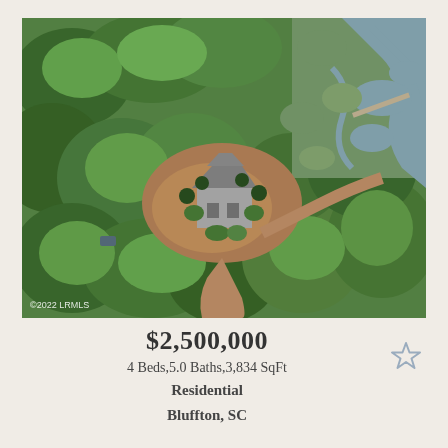[Figure (photo): Aerial drone photo of a residential property surrounded by dense green trees, with a house visible in the center clearing and a marsh/wetland waterway visible in the upper right. Red/brown soil paths lead to the house. Watermark reads ©2022 LRMLS in bottom left.]
$2,500,000
4 Beds,5.0 Baths,3,834 SqFt
Residential
Bluffton, SC